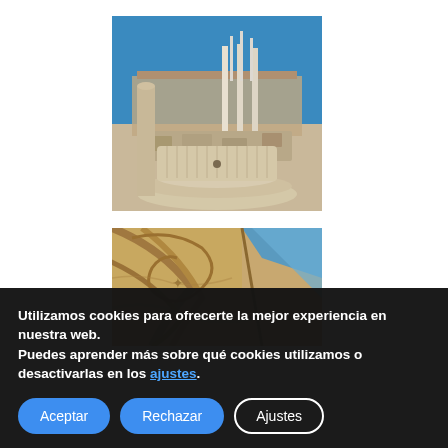[Figure (photo): Archaeological ruins with ancient Roman columns under blue sky, with a large carved stone drum (column base) in the foreground]
[Figure (photo): Close-up of a carved stone column capital or architectural detail showing Ionic volutes against blue sky, warm stone tones]
Utilizamos cookies para ofrecerte la mejor experiencia en nuestra web.
Puedes aprender más sobre qué cookies utilizamos o desactivarlas en los ajustes.
Aceptar
Rechazar
Ajustes